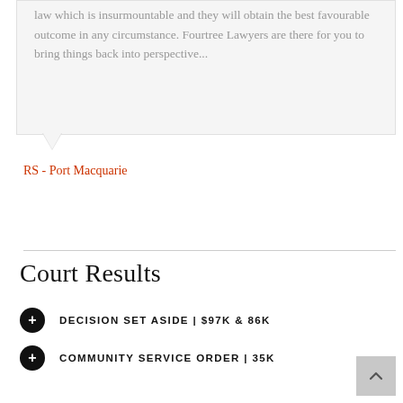law which is insurmountable and they will obtain the best favourable outcome in any circumstance. Fourtree Lawyers are there for you to bring things back into perspective...
RS - Port Macquarie
Court Results
DECISION SET ASIDE | $97K & 86K
COMMUNITY SERVICE ORDER | 35K